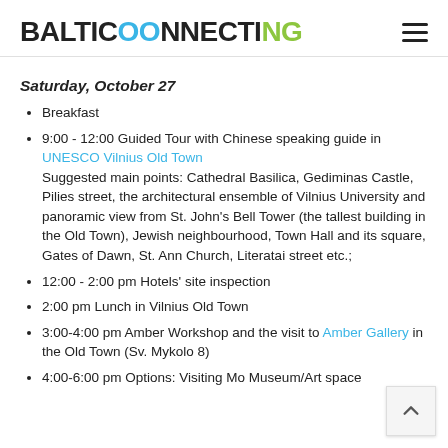BALTICOONNECTING
Saturday, October 27
Breakfast
9:00 - 12:00 Guided Tour with Chinese speaking guide in UNESCO Vilnius Old Town
Suggested main points: Cathedral Basilica, Gediminas Castle, Pilies street, the architectural ensemble of Vilnius University and panoramic view from St. John's Bell Tower (the tallest building in the Old Town), Jewish neighbourhood, Town Hall and its square, Gates of Dawn, St. Ann Church, Literatai street etc.;
12:00 - 2:00 pm Hotels' site inspection
2:00 pm Lunch in Vilnius Old Town
3:00-4:00 pm Amber Workshop and the visit to Amber Gallery in the Old Town (Sv. Mykolo 8)
4:00-6:00 pm Options: Visiting Mo Museum/Art space